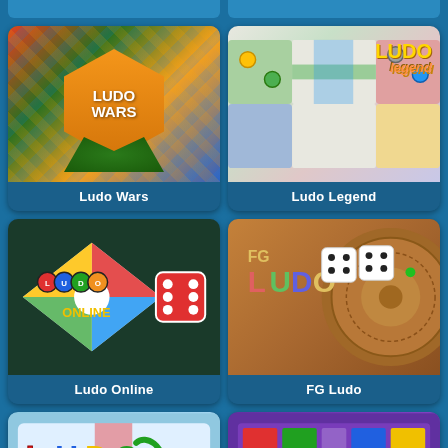[Figure (screenshot): Ludo Wars game thumbnail - colorful isometric cube board with orange shield logo]
Ludo Wars
[Figure (screenshot): Ludo Legend game thumbnail - classic ludo board with colorful paths and pieces]
Ludo Legend
[Figure (screenshot): Ludo Online game thumbnail - dark green background with diamond logo and red dice]
Ludo Online
[Figure (screenshot): FG Ludo game thumbnail - brown wooden board background with colorful FG LUDO text and dice]
FG Ludo
[Figure (screenshot): Ludo game thumbnail - light blue background with colorful ludo text and dice]
[Figure (screenshot): Ludo Classic game thumbnail - purple background with classic ludo board and Ludo Classic text]